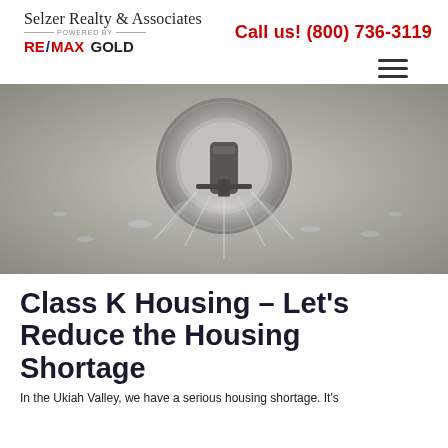Selzer Realty & Associates — POWERED BY RE/MAX GOLD | Call us! (800) 736-3119
[Figure (photo): Close-up photo of a fire sprinkler head spraying water, mounted in a ceiling]
Class K Housing – Let's Reduce the Housing Shortage
In the Ukiah Valley, we have a serious housing shortage. It's